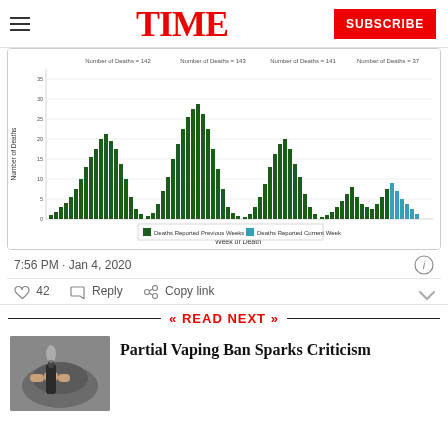TIME | SUBSCRIBE
[Figure (bar-chart): Bar chart showing number of deaths by week, with green bars for Deaths Reported Previous Weeks and teal/blue for Deaths Reported Current Week. Multiple waves visible.]
7:56 PM · Jan 4, 2020
42  Reply  Copy link
« READ NEXT »
[Figure (photo): Person using a vaping device, close-up hand holding e-cigarette]
Partial Vaping Ban Sparks Criticism